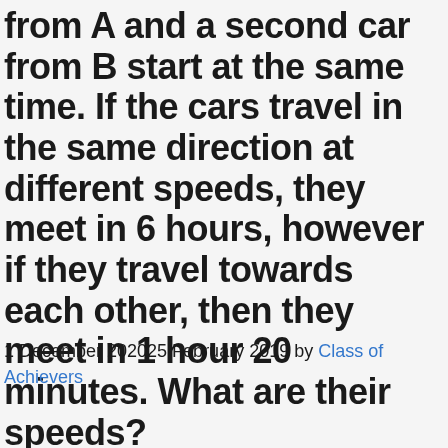from A and a second car from B start at the same time. If the cars travel in the same direction at different speeds, they meet in 6 hours, however if they travel towards each other, then they meet in 1 hour 20 minutes. What are their speeds?
1 December 202025 February 2019 by Class of Achievers